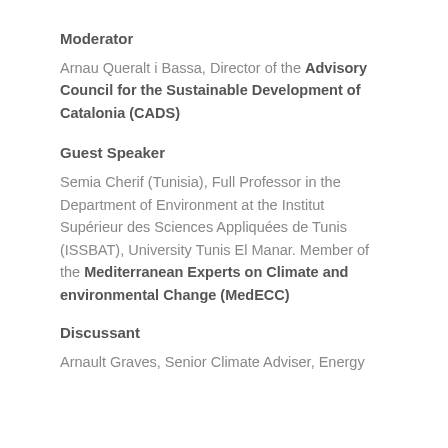Moderator
Arnau Queralt i Bassa, Director of the Advisory Council for the Sustainable Development of Catalonia (CADS)
Guest Speaker
Semia Cherif (Tunisia), Full Professor in the Department of Environment at the Institut Supérieur des Sciences Appliquées de Tunis (ISSBAT), University Tunis El Manar. Member of the Mediterranean Experts on Climate and environmental Change (MedECC)
Discussant
Arnault Graves, Senior Climate Adviser, Energy